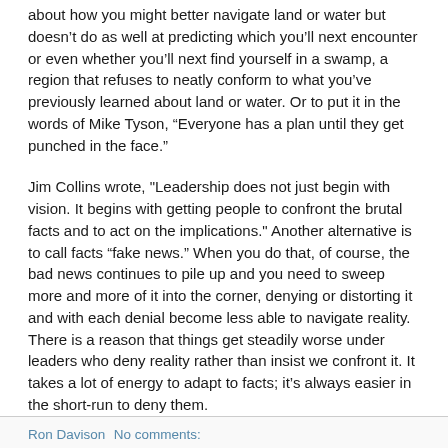about how you might better navigate land or water but doesn't do as well at predicting which you'll next encounter or even whether you'll next find yourself in a swamp, a region that refuses to neatly conform to what you've previously learned about land or water. Or to put it in the words of Mike Tyson, “Everyone has a plan until they get punched in the face.”
Jim Collins wrote, "Leadership does not just begin with vision. It begins with getting people to confront the brutal facts and to act on the implications." Another alternative is to call facts “fake news.” When you do that, of course, the bad news continues to pile up and you need to sweep more and more of it into the corner, denying or distorting it and with each denial become less able to navigate reality. There is a reason that things get steadily worse under leaders who deny reality rather than insist we confront it. It takes a lot of energy to adapt to facts; it’s always easier in the short-run to deny them.
Ron Davison   No comments: